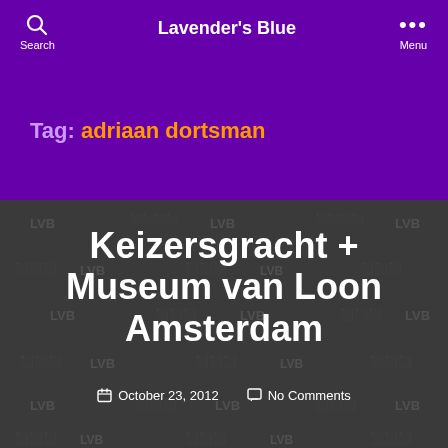Lavender's Blue
Tag: adriaan dortsman
[Figure (screenshot): Dark grey watermark background with repeating 'LVB' and building icon pattern]
Keizersgracht + Museum van Loon Amsterdam
October 23, 2012  No Comments